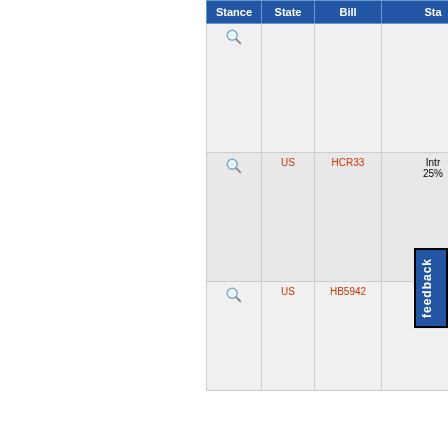| Stance | State | Bill | Sta... |
| --- | --- | --- | --- |
| (magnify) |  |  |  |
| (magnify) | US | HCR33 | Intr... 25%... |
| (magnify) | US | HB5942 |  |